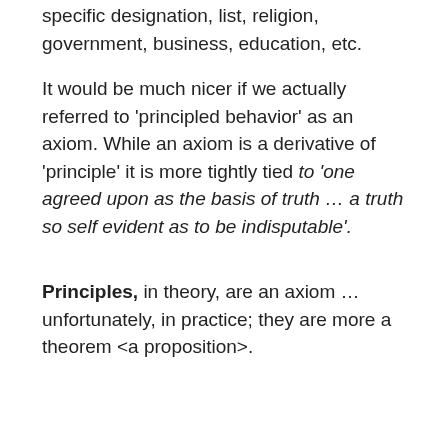specific designation, list, religion, government, business, education, etc.
It would be much nicer if we actually referred to 'principled behavior' as an axiom. While an axiom is a derivative of 'principle' it is more tightly tied to 'one agreed upon as the basis of truth … a truth so self evident as to be indisputable'.
Principles, in theory, are an axiom … unfortunately, in practice; they are more a theorem <a proposition>.